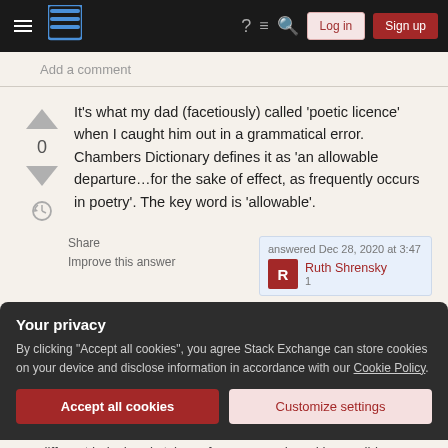Stack Exchange navigation bar with Log in and Sign up buttons
Add a comment
It's what my dad (facetiously) called 'poetic licence' when I caught him out in a grammatical error. Chambers Dictionary defines it as 'an allowable departure…for the sake of effect, as frequently occurs in poetry'. The key word is 'allowable'.
Share
Improve this answer
answered Dec 28, 2020 at 3:47
Ruth Shrensky
Your privacy
By clicking "Accept all cookies", you agree Stack Exchange can store cookies on your device and disclose information in accordance with our Cookie Policy.
different 'rules' and style preferences, so 'error' is possibly